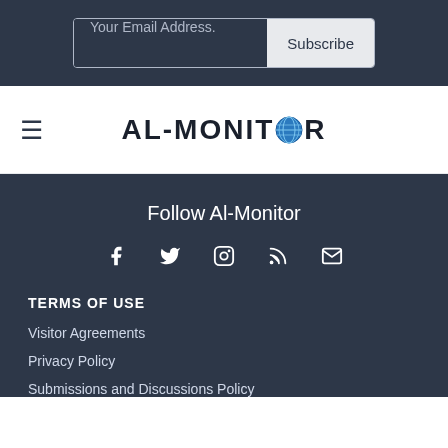Your Email Address. | Subscribe
AL-MONITOR
Follow Al-Monitor
[Figure (infographic): Social media icons: Facebook, Twitter, Instagram, RSS, Email]
TERMS OF USE
Visitor Agreements
Privacy Policy
Submissions and Discussions Policy